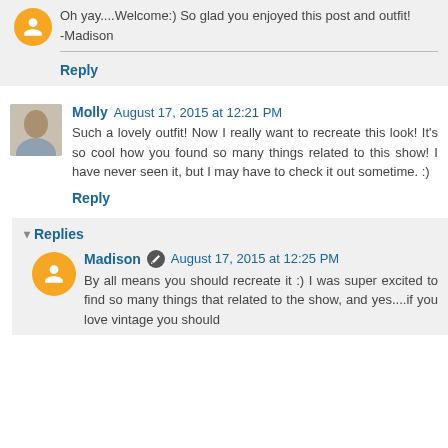Oh yay....Welcome:) So glad you enjoyed this post and outfit!
-Madison
Reply
Molly August 17, 2015 at 12:21 PM
Such a lovely outfit! Now I really want to recreate this look! It's so cool how you found so many things related to this show! I have never seen it, but I may have to check it out sometime. :)
Reply
Replies
Madison August 17, 2015 at 12:25 PM
By all means you should recreate it :) I was super excited to find so many things that related to the show, and yes....if you love vintage you should